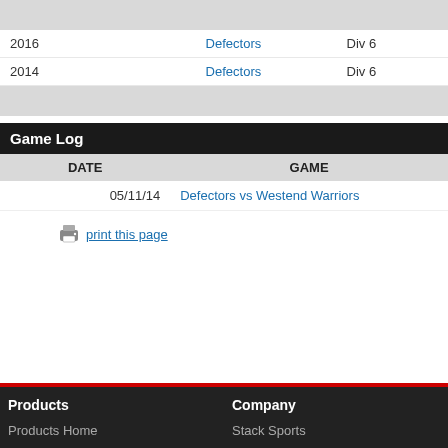|  | TEAM | DIV |
| --- | --- | --- |
| 2016 | Defectors | Div 6 |
| 2014 | Defectors | Div 6 |
Game Log
| DATE | GAME |
| --- | --- |
| 05/11/14 | Defectors vs Westend Warriors |
print this page
Products  Products Home  Company  Stack Sports